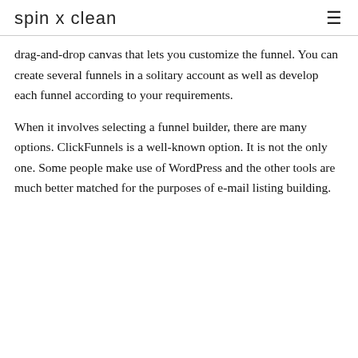spin x clean
drag-and-drop canvas that lets you customize the funnel. You can create several funnels in a solitary account as well as develop each funnel according to your requirements.
When it involves selecting a funnel builder, there are many options. ClickFunnels is a well-known option. It is not the only one. Some people make use of WordPress and the other tools are much better matched for the purposes of e-mail listing building.